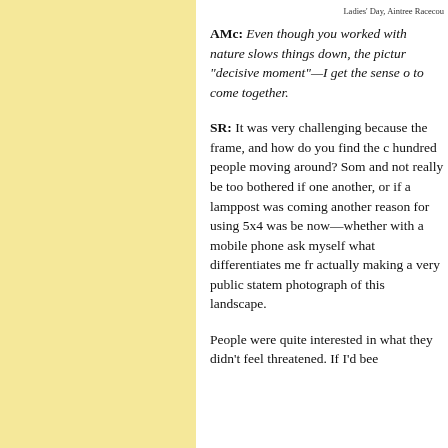Ladies' Day, Aintree Racecou
AMc: Even though you worked with nature slows things down, the pictur "decisive moment"—I get the sense o to come together.
SR: It was very challenging because the frame, and how do you find the c hundred people moving around? Som and not really be too bothered if one another, or if a lamppost was coming another reason for using 5x4 was be now—whether with a mobile phone ask myself what differentiates me fr actually making a very public statem photograph of this landscape.
People were quite interested in what they didn't feel threatened. If I'd bee